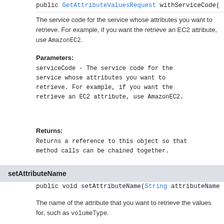public GetAttributeValuesRequest withServiceCode(
The service code for the service whose attributes you want to retrieve. For example, if you want the retrieve an EC2 attribute, use AmazonEC2.
Parameters:
serviceCode - The service code for the service whose attributes you want to retrieve. For example, if you want the retrieve an EC2 attribute, use AmazonEC2.
Returns:
Returns a reference to this object so that method calls can be chained together.
setAttributeName
public void setAttributeName(String attributeName
The name of the attribute that you want to retrieve the values for, such as volumeType.